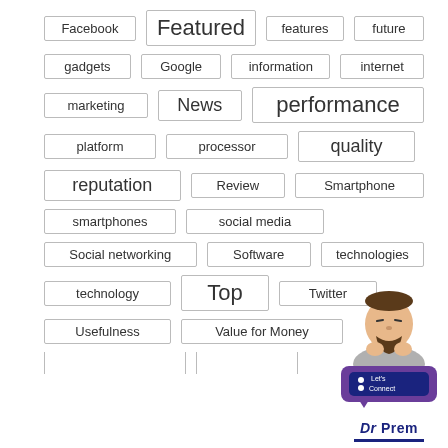[Figure (infographic): Tag cloud showing technology-related keywords in bordered boxes of varying sizes: Facebook, Featured, features, future, gadgets, Google, information, internet, marketing, News, performance, platform, processor, quality, reputation, Review, Smartphone, smartphones, social media, Social networking, Software, technologies, technology, Top, Twitter, Usefulness, Value for Money, and partially visible items at bottom. Dr Prem logo with avatar and Let's Connect badge in bottom right.]